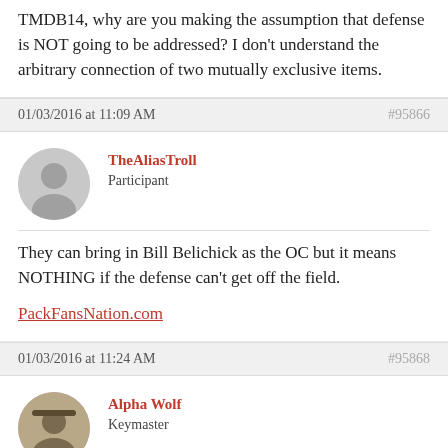TMDB14, why are you making the assumption that defense is NOT going to be addressed? I don't understand the arbitrary connection of two mutually exclusive items.
01/03/2016 at 11:09 AM
#95866
TheAliasTroll
Participant
They can bring in Bill Belichick as the OC but it means NOTHING if the defense can't get off the field.
PackFansNation.com
01/03/2016 at 11:24 AM
#95868
Alpha Wolf
Keymaster